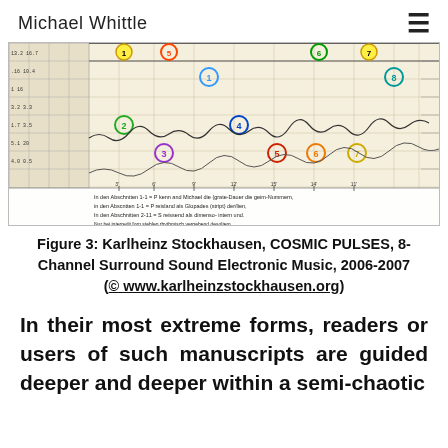Michael Whittle
[Figure (other): Karlheinz Stockhausen COSMIC PULSES musical score manuscript with colored circles, annotations, waveforms, and grid lines on manuscript paper]
Figure 3: Karlheinz Stockhausen, COSMIC PULSES, 8-Channel Surround Sound Electronic Music, 2006-2007
(© www.karlheinzstockhausen.org)
In their most extreme forms, readers or users of such manuscripts are guided deeper and deeper within a semi-chaotic